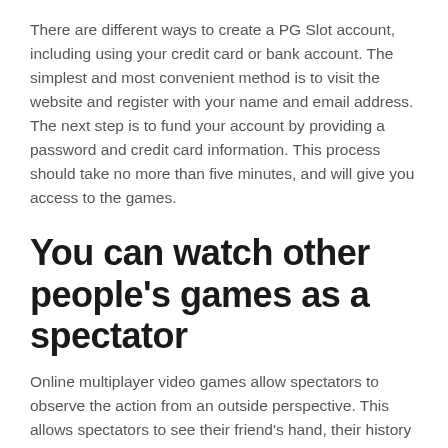There are different ways to create a PG Slot account, including using your credit card or bank account. The simplest and most convenient method is to visit the website and register with your name and email address. The next step is to fund your account by providing a password and credit card information. This process should take no more than five minutes, and will give you access to the games.
You can watch other people's games as a spectator
Online multiplayer video games allow spectators to observe the action from an outside perspective. This allows spectators to see their friend's hand, their history of plays, and their remaining health without